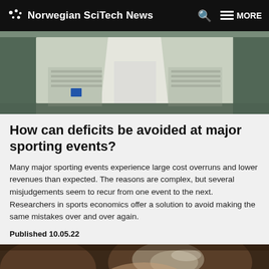Norwegian SciTech News
[Figure (photo): Aerial view of a ski jumping venue or large sports facility with white structures and seating areas]
How can deficits be avoided at major sporting events?
Many major sporting events experience large cost overruns and lower revenues than expected. The reasons are complex, but several misjudgements seem to recur from one event to the next. Researchers in sports economics offer a solution to avoid making the same mistakes over and over again.
Published 10.05.22
[Figure (photo): Close-up photo of a person holding a transparent or glass object, likely related to the article content]